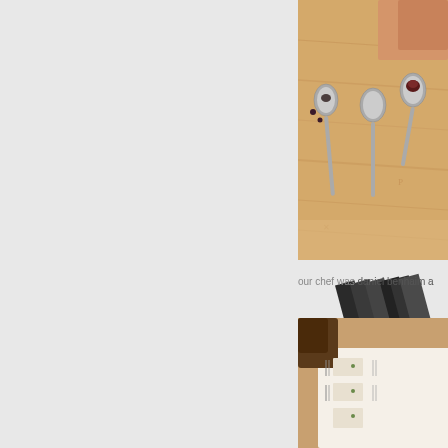[Figure (photo): Close-up photo of spoons with food items (including what appears to be a dark red/beet colored morsel) on a wooden surface, with a hand visible in the upper right]
[Figure (photo): Close-up photo of dark layered items (possibly menus or cards) on a white surface with soft lighting]
our chef was daniel benhaim a
[Figure (photo): Photo of a restaurant dining table set with menus and cutlery, wooden chairs visible, warm lighting]